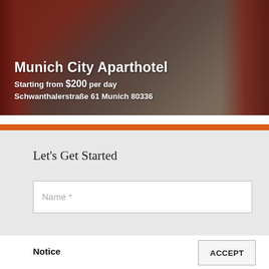[Figure (photo): Hotel room photo showing red curtains and a sofa with red cushions, overlaid with hotel name, price, and address text on a dark overlay]
Munich City Aparthotel
Starting from $200 per day
Schwanthalerstraße 61 Munich 80336
Let's Get Started
Name *
Notice
This website uses cookies, which enable proper functioning of the site and are required to achieve the purposes illustrated in the Privacy Policy. By closing this banner, clicking a link or continuing to browse otherwise, you agree to the use of cookies.